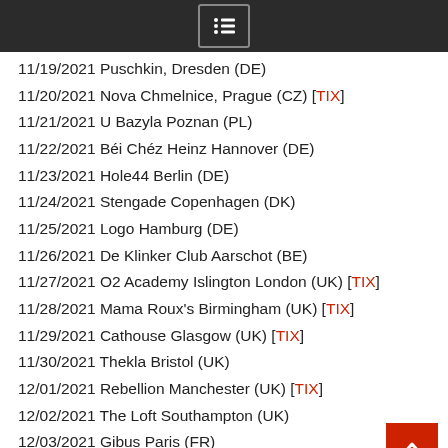[Navigation menu bar]
11/19/2021 Puschkin, Dresden (DE)
11/20/2021 Nova Chmelnice, Prague (CZ) [TIX]
11/21/2021 U Bazyla Poznan (PL)
11/22/2021 Béi Chéz Heinz Hannover (DE)
11/23/2021 Hole44 Berlin (DE)
11/24/2021 Stengade Copenhagen (DK)
11/25/2021 Logo Hamburg (DE)
11/26/2021 De Klinker Club Aarschot (BE)
11/27/2021 O2 Academy Islington London (UK) [TIX]
11/28/2021 Mama Roux's Birmingham (UK) [TIX]
11/29/2021 Cathouse Glasgow (UK) [TIX]
11/30/2021 Thekla Bristol (UK)
12/01/2021 Rebellion Manchester (UK) [TIX]
12/02/2021 The Loft Southampton (UK)
12/03/2021 Gibus Paris (FR)
12/04/2021 Doornroosje Nijmegen (NL)
Also Check Out: Aether Realm unveil "Cycle" music video